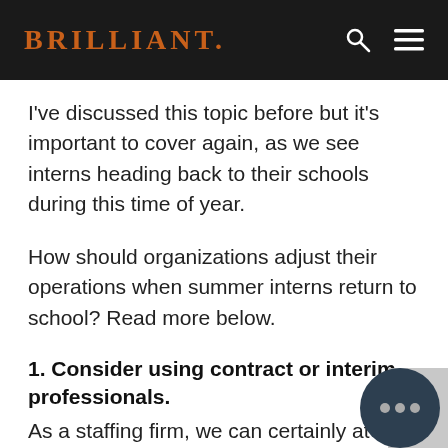BRILLIANT.
I've discussed this topic before but it's important to cover again, as we see interns heading back to their schools during this time of year.
How should organizations adjust their operations when summer interns return to school? Read more below.
1. Consider using contract or interim professionals.
As a staffing firm, we can certainly attest to the importance of hiring temporary